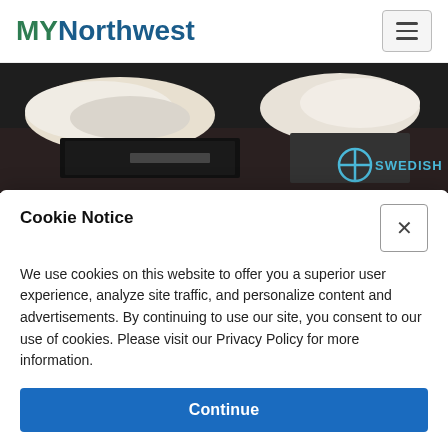MYNorthwest
[Figure (photo): Photo of surgical/medical clothing items on a shelf with Swedish health system logo visible in bottom right corner]
June is Men's Health Month: Here's Why It's Important To Speak About Your
Cookie Notice
We use cookies on this website to offer you a superior user experience, analyze site traffic, and personalize content and advertisements. By continuing to use our site, you consent to our use of cookies. Please visit our Privacy Policy for more information.
Continue